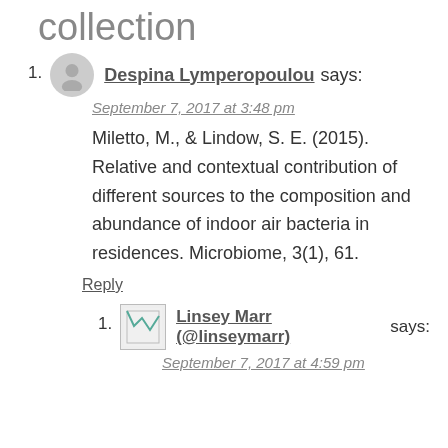collection
1. Despina Lymperopoulou says:
September 7, 2017 at 3:48 pm
Miletto, M., & Lindow, S. E. (2015). Relative and contextual contribution of different sources to the composition and abundance of indoor air bacteria in residences. Microbiome, 3(1), 61.
Reply
1. Linsey Marr (@linseymarr) says:
September 7, 2017 at 4:59 pm